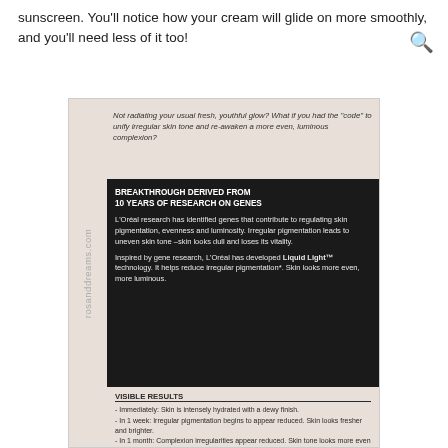sunscreen. You'll notice how your cream will glide on more smoothly, and you'll need less of it too!
[Figure (photo): Photo of a cosmetic product label showing L'Oreal skincare product back label with text about Breakthrough Derived From 10 Years of Research on Genes, visible results, and regime instructions. Watermark text 'rosanddreams.com' visible along left side.]